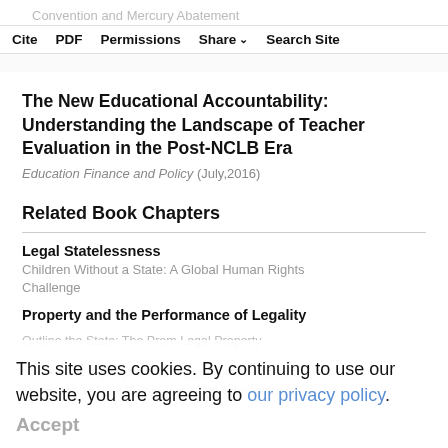Convention and Mercury Abatement
Cite  PDF  Permissions  Share  Search Site
The New Educational Accountability: Understanding the Landscape of Teacher Evaluation in the Post-NCLB Era
Education Finance and Policy (July,2016)
Related Book Chapters
Legal Statelessness
Children Without a State: A Global Human Rights Challenge
Property and the Performance of Legality
This site uses cookies. By continuing to use our website, you are agreeing to our privacy policy. Accept